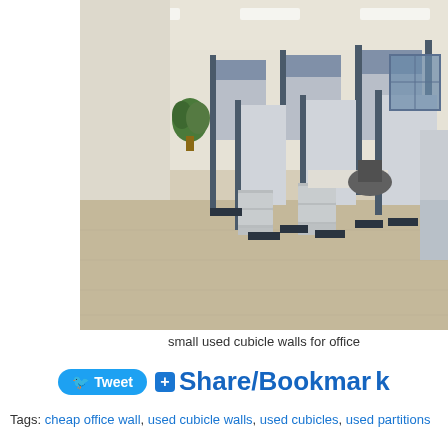[Figure (photo): Interior of an office space with rows of cubicles separated by gray partition walls with glass tops, beige carpet flooring, and fluorescent ceiling lights.]
small used cubicle walls for office
Tweet  + Share/Bookmark
Tags: cheap office wall, used cubicle walls, used cubicles, used partitions